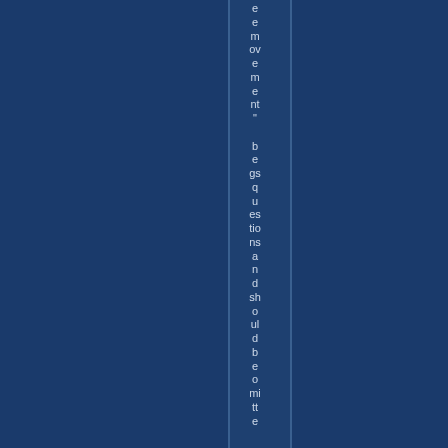e e m ov e m e nt" b e gs q u es tio ns a n d sh o ul d b e o mi tt e